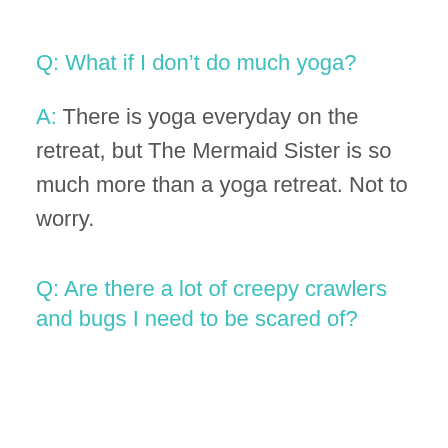Q: What if I don't do much yoga?
A: There is yoga everyday on the retreat, but The Mermaid Sister is so much more than a yoga retreat. Not to worry.
Q: Are there a lot of creepy crawlers and bugs I need to be scared of?